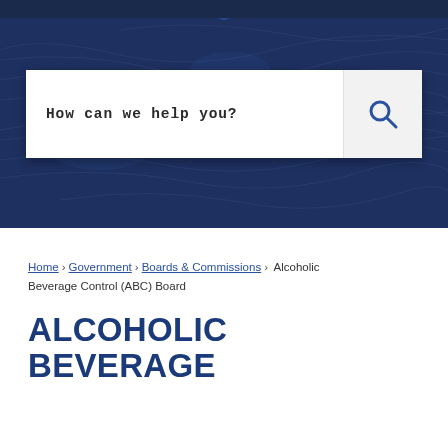[Figure (screenshot): Government website hero banner with dark blue background and aerial/satellite map imagery overlay. Contains a search box with text 'How can we help you?' and a search icon button on the right.]
Home › Government › Boards & Commissions › Alcoholic Beverage Control (ABC) Board
ALCOHOLIC BEVERAGE